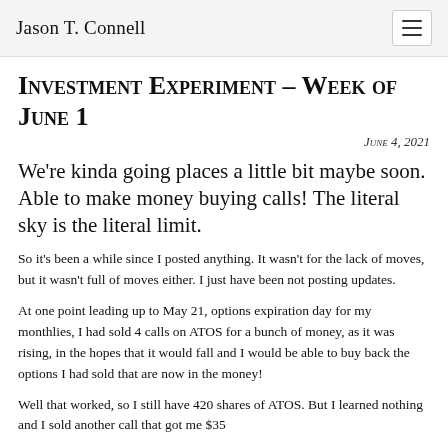Jason T. Connell
Investment Experiment – Week of June 1
June 4, 2021
We're kinda going places a little bit maybe soon. Able to make money buying calls! The literal sky is the literal limit.
So it's been a while since I posted anything. It wasn't for the lack of moves, but it wasn't full of moves either. I just have been not posting updates.
At one point leading up to May 21, options expiration day for my monthlies, I had sold 4 calls on ATOS for a bunch of money, as it was rising, in the hopes that it would fall and I would be able to buy back the options I had sold that are now in the money!
Well that worked, so I still have 420 shares of ATOS. But I learned nothing and I sold another call that got me $35…